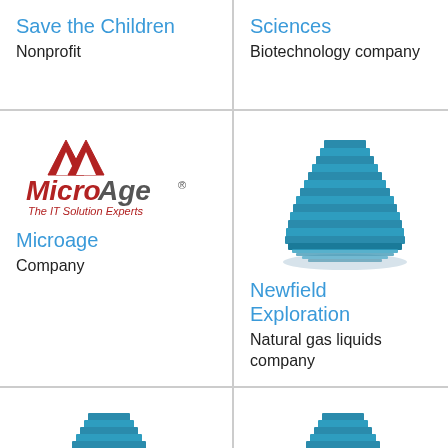Save the Children
Nonprofit
Sciences (truncated)
Biotechnology company
[Figure (logo): MicroAge logo with mountain/roof icon, italic MicroAge text with registered mark, and tagline 'The IT Solution Experts']
Microage
Company
[Figure (illustration): Blue building/skyscraper icon with layered floors and wavy lines]
Newfield Exploration
Natural gas liquids company
[Figure (illustration): Blue building/skyscraper icon with layered floors and wavy lines]
OneBeacon
[Figure (illustration): Blue building/skyscraper icon with layered floors and wavy lines]
Digital Equipment